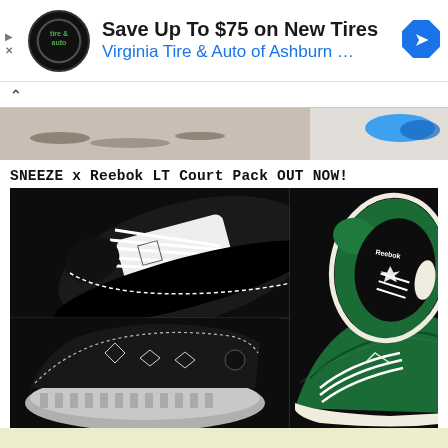[Figure (screenshot): Advertisement banner for Virginia Tire & Auto of Ashburn with logo, headline 'Save Up To $75 on New Tires', and blue navigation arrow icon]
[Figure (photo): Hero strip showing partial shoe/sneaker image with teal/blue sole on light background]
SNEEZE x Reebok LT Court Pack OUT NOW!
[Figure (photo): Product photo collage of SNEEZE x Reebok LT Court Pack sneakers showing black and green colorways from multiple angles]